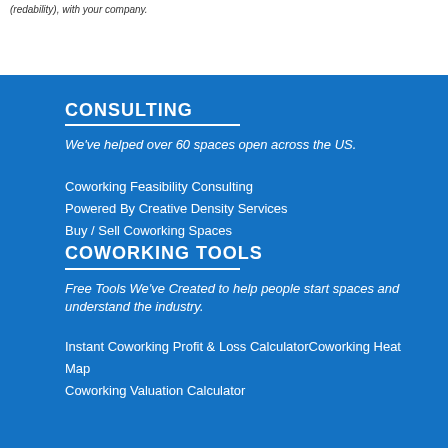(redacted), with your company.
CONSULTING
We've helped over 60 spaces open across the US.
Coworking Feasibility Consulting
Powered By Creative Density Services
Buy / Sell Coworking Spaces
COWORKING TOOLS
Free Tools We've Created to help people start spaces and understand the industry.
Instant Coworking Profit & Loss Calculator
Coworking Heat Map
Coworking Valuation Calculator